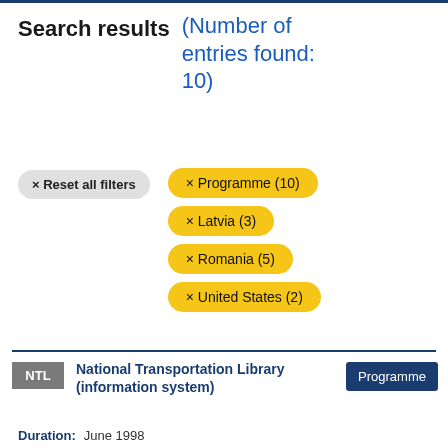Search results (Number of entries found: 10)
× Reset all filters
× Programme (10)
× Latvia (3)
× Romania (5)
× United States (2)
NTL  National Transportation Library (information system)  Programme
Duration:   June 1998